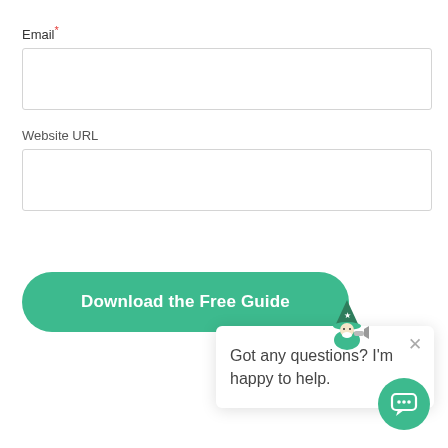Email*
Website URL
Download the Free Guide
[Figure (illustration): Green wizard/gnome mascot character holding a megaphone]
Got any questions? I'm happy to help.
[Figure (illustration): Green circular chat button with speech bubble icon]